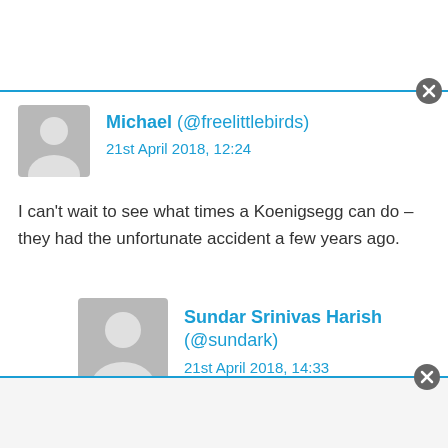[Figure (screenshot): Top advertisement bar with close button]
Michael (@freelittlebirds)
21st April 2018, 12:24
I can't wait to see what times a Koenigsegg can do – they had the unfortunate accident a few years ago.
Sundar Srinivas Harish (@sundark)
21st April 2018, 14:33
I'd love to see the Dodge Viper ACR, too, have a proper go at it once again. IIRC the weather was poor when the 2 sponsored cars went to the track and one of them...
[Figure (screenshot): Bottom advertisement bar with close button]